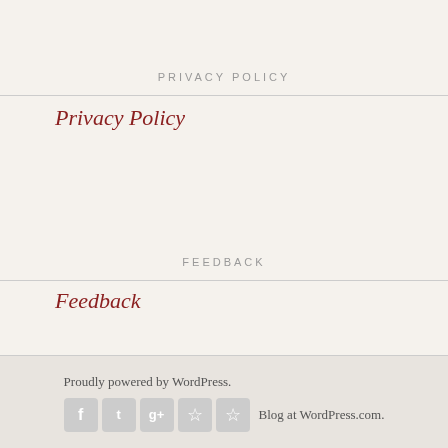PRIVACY POLICY
Privacy Policy
FEEDBACK
Feedback
Proudly powered by WordPress. Blog at WordPress.com.